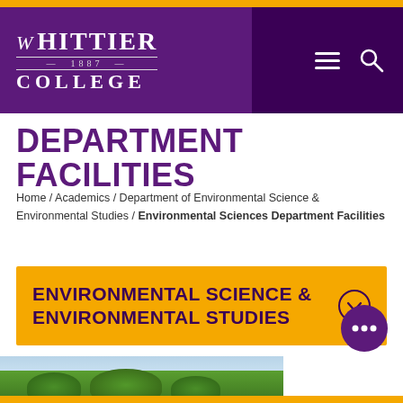Whittier College 1887 — navigation header with logo and menu/search icons
DEPARTMENT FACILITIES
Home / Academics / Department of Environmental Science & Environmental Studies / Environmental Sciences Department Facilities
ENVIRONMENTAL SCIENCE & ENVIRONMENTAL STUDIES
[Figure (photo): Partial view of trees and sky at the bottom of the page]